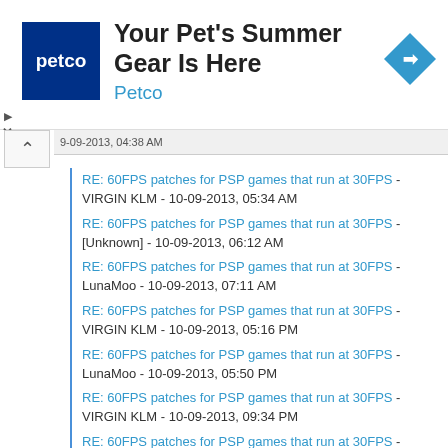[Figure (screenshot): Petco advertisement banner with Petco logo, text 'Your Pet's Summer Gear Is Here', brand name 'Petco', and navigation arrow icon]
RE: 60FPS patches for PSP games that run at 30FPS - VIRGIN KLM - 10-09-2013, 05:34 AM
RE: 60FPS patches for PSP games that run at 30FPS - [Unknown] - 10-09-2013, 06:12 AM
RE: 60FPS patches for PSP games that run at 30FPS - LunaMoo - 10-09-2013, 07:11 AM
RE: 60FPS patches for PSP games that run at 30FPS - VIRGIN KLM - 10-09-2013, 05:16 PM
RE: 60FPS patches for PSP games that run at 30FPS - LunaMoo - 10-09-2013, 05:50 PM
RE: 60FPS patches for PSP games that run at 30FPS - VIRGIN KLM - 10-09-2013, 09:34 PM
RE: 60FPS patches for PSP games that run at 30FPS - [Unknown] - 10-10-2013, 12:00 AM
RE: 60FPS patches for PSP games that run at 30FPS - VIRGIN KLM - 10-10-2013, 03:30 AM
RE: 60FPS patches for PSP games that run at 30FPS - [Unknown] - 10-10-2013, 04:58 AM
RE: 60FPS patches for PSP games that run at 30FPS - VIRGIN